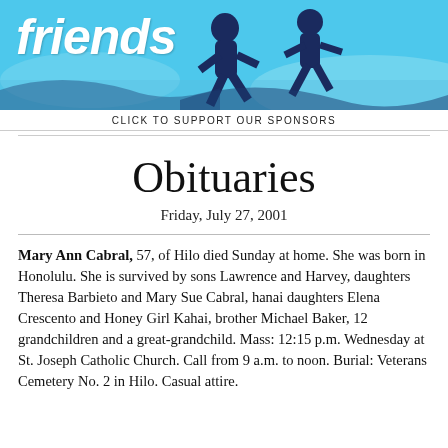[Figure (illustration): Banner graphic with light blue background, dark blue silhouettes of running figures, and white bold italic 'friends' text in the upper left]
CLICK TO SUPPORT OUR SPONSORS
Obituaries
Friday, July 27, 2001
Mary Ann Cabral, 57, of Hilo died Sunday at home. She was born in Honolulu. She is survived by sons Lawrence and Harvey, daughters Theresa Barbieto and Mary Sue Cabral, hanai daughters Elena Crescento and Honey Girl Kahai, brother Michael Baker, 12 grandchildren and a great-grandchild. Mass: 12:15 p.m. Wednesday at St. Joseph Catholic Church. Call from 9 a.m. to noon. Burial: Veterans Cemetery No. 2 in Hilo. Casual attire.